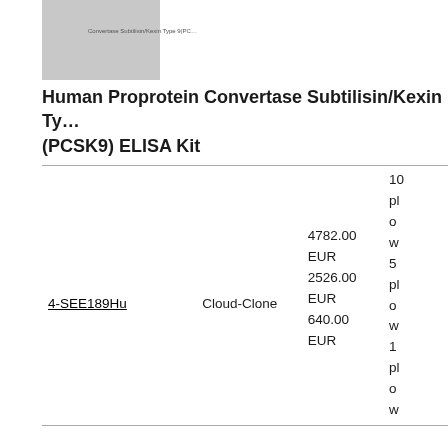[Figure (photo): Product image placeholder for Convertase Subtilisin/Kexin Type 9 PCSK9]
Human Proprotein Convertase Subtilisin/Kexin Type (PCSK9) ELISA Kit
|  |  | Price |  |
| --- | --- | --- | --- |
| 4-SEE189Hu | Cloud-Clone | 4782.00 EUR
2526.00 EUR
640.00 EUR | 10 pl o w 5 pl o w 1 pl o w |